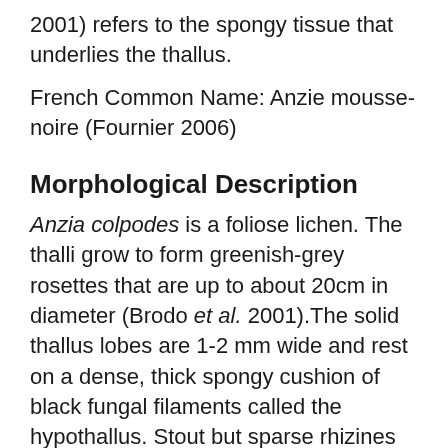2001) refers to the spongy tissue that underlies the thallus.
French Common Name: Anzie mousse-noire (Fournier 2006)
Morphological Description
Anzia colpodes is a foliose lichen. The thalli grow to form greenish-grey rosettes that are up to about 20cm in diameter (Brodo et al. 2001).The solid thallus lobes are 1-2 mm wide and rest on a dense, thick spongy cushion of black fungal filaments called the hypothallus. Stout but sparse rhizines grow from the lower cortex to the substrate.